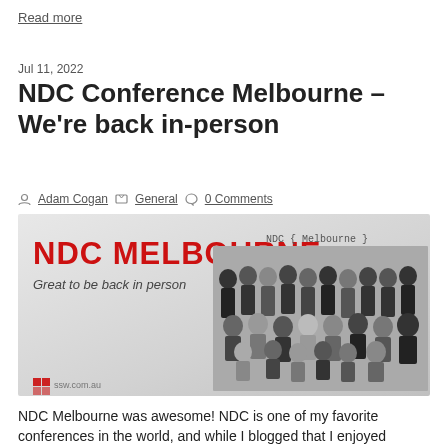Read more
Jul 11, 2022
NDC Conference Melbourne – We're back in-person
Adam Cogan   General   0 Comments
[Figure (photo): NDC Melbourne conference banner with red bold text 'NDC MELBOURNE', subtitle 'Great to be back in person', group photo of conference attendees in black t-shirts, NDC { Melbourne } branding, ssw.com.au logo]
NDC Melbourne was awesome! NDC is one of my favorite conferences in the world, and while I blogged that I enjoyed catching up online over the last two years, in retrospect, I wouldn't want to do it again. Nothing beats seeing